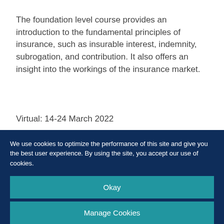The foundation level course provides an introduction to the fundamental principles of insurance, such as insurable interest, indemnity, subrogation, and contribution. It also offers an insight into the workings of the insurance market.
Virtual: 14-24 March 2022
Face-to-face: London, 11-15 July 2022
Energy Insurance and Risk
We use cookies to optimize the performance of this site and give you the best user experience. By using the site, you accept our use of cookies.
Okay
Manage Cookies